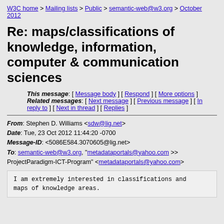W3C home > Mailing lists > Public > semantic-web@w3.org > October 2012
Re: maps/classifications of knowledge, information, computer & communication sciences
This message: [ Message body ] [ Respond ] [ More options ] Related messages: [ Next message ] [ Previous message ] [ In reply to ] [ Next in thread ] [ Replies ]
From: Stephen D. Williams <sdw@lig.net>
Date: Tue, 23 Oct 2012 11:44:20 -0700
Message-ID: <5086E584.3070605@lig.net>
To: semantic-web@w3.org, "metadataportals@yahoo.com >> ProjectParadigm-ICT-Program" <metadataportals@yahoo.com>
I am extremely interested in classifications and maps of knowledge areas.